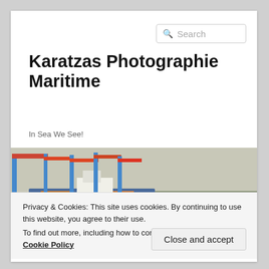Karatzas Photographie Maritime
In Sea We See!
[Figure (photo): A harbour/port scene with large blue cranes and a cargo ship alongside a terminal, river and tree line in background.]
Privacy & Cookies: This site uses cookies. By continuing to use this website, you agree to their use.
To find out more, including how to control cookies, see here: Cookie Policy
Close and accept